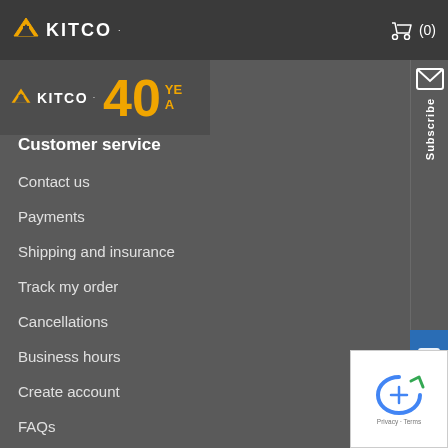KITCO (0)
[Figure (logo): Kitco 40 years anniversary banner logo]
Customer service
Contact us
Payments
Shipping and insurance
Track my order
Cancellations
Business hours
Create account
FAQs
Retail store location
Connect with us
[Figure (illustration): Social media icons: Facebook, Twitter, YouTube, LinkedIn, Instagram]
[Figure (illustration): Subscribe sidebar button]
[Figure (illustration): Live Chat sidebar button]
[Figure (illustration): Google reCAPTCHA widget]